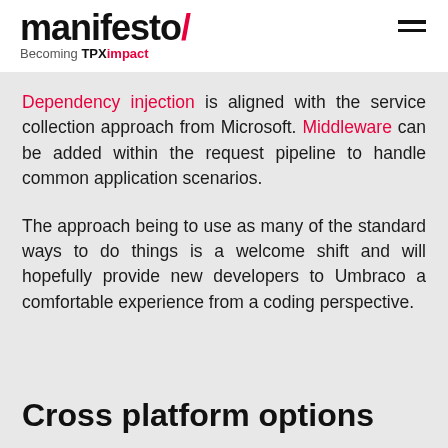manifesto/ Becoming TPXimpact
Dependency injection is aligned with the service collection approach from Microsoft. Middleware can be added within the request pipeline to handle common application scenarios.
The approach being to use as many of the standard ways to do things is a welcome shift and will hopefully provide new developers to Umbraco a comfortable experience from a coding perspective.
Cross platform options